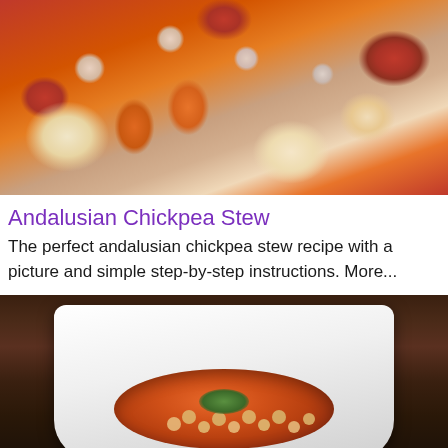[Figure (photo): Close-up photo of Andalusian chickpea stew ingredients including red blood sausage/chorizo, chickpeas, carrots, and potatoes]
Andalusian Chickpea Stew
The perfect andalusian chickpea stew recipe with a picture and simple step-by-step instructions. More...
[Figure (photo): Photo of a finished Andalusian chickpea stew served in a white square plate on a wooden table, garnished with fresh herbs]